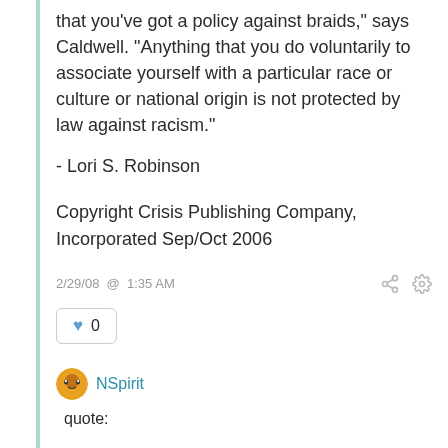that you've got a policy against braids," says Caldwell. "Anything that you do voluntarily to associate yourself with a particular race or culture or national origin is not protected by law against racism."
- Lori S. Robinson
Copyright Crisis Publishing Company, Incorporated Sep/Oct 2006
2/29/08 @ 1:35 AM
0
NSpirit
quote: